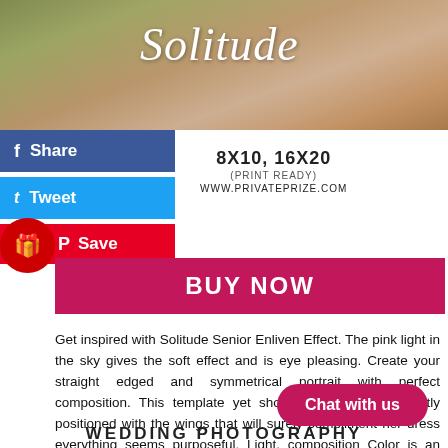[Figure (photo): Top banner photo showing bride/woman in pink light among autumn trees with script text 'Solitude']
Share
Tweet
Save
8X10, 16X20
(PRINT READY)
WWW.PRIVATEPRIZE.COM
BUY NOW
Get inspired with Solitude Senior Enliven Effect. The pink light in the sky gives the soft effect and is eye pleasing. Create your straight edged and symmetrical portrait with perfect composition. This template yet shows the bride is perfectly positioned with the wings that will surely compliment her dress everything seems purposeful. Light, composition Color is an often utilized aid to composition. Create a striking  will fulfill your photographic needs.
Chat with us
WEDDING PHOTOGRAPHY